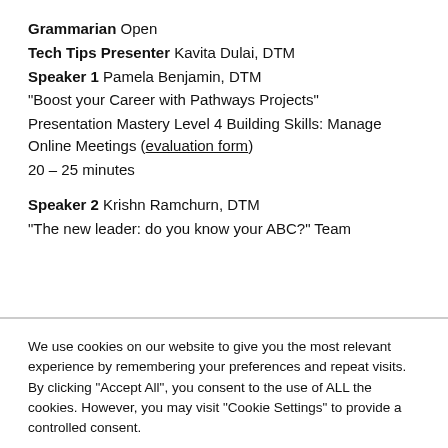Grammarian Open
Tech Tips Presenter Kavita Dulai, DTM
Speaker 1 Pamela Benjamin, DTM
"Boost your Career with Pathways Projects"
Presentation Mastery Level 4 Building Skills: Manage Online Meetings (evaluation form)
20 – 25 minutes
Speaker 2 Krishn Ramchurn, DTM
"The new leader: do you know your ABC?" Team
We use cookies on our website to give you the most relevant experience by remembering your preferences and repeat visits. By clicking "Accept All", you consent to the use of ALL the cookies. However, you may visit "Cookie Settings" to provide a controlled consent.